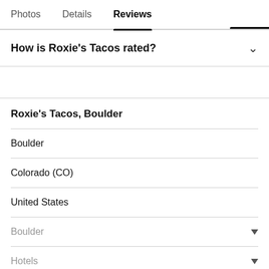Photos   Details   Reviews
How is Roxie's Tacos rated?
Roxie's Tacos, Boulder
Boulder
Colorado (CO)
United States
Boulder
Hotels
Flights